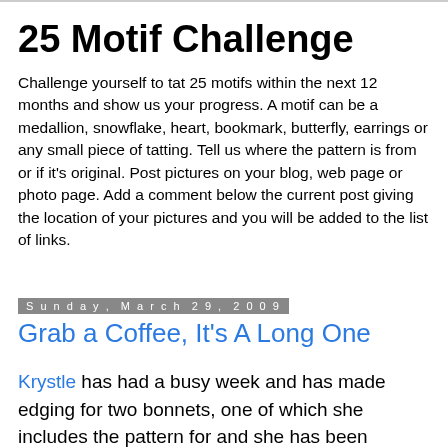25 Motif Challenge
Challenge yourself to tat 25 motifs within the next 12 months and show us your progress. A motif can be a medallion, snowflake, heart, bookmark, butterfly, earrings or any small piece of tatting. Tell us where the pattern is from or if it's original. Post pictures on your blog, web page or photo page. Add a comment below the current post giving the location of your pictures and you will be added to the list of links.
Sunday, March 29, 2009
Grab a Coffee, It's A Long One
Krystle has had a busy week and has made edging for two bonnets, one of which she includes the pattern for and she has been playing with plastic rings and has made a